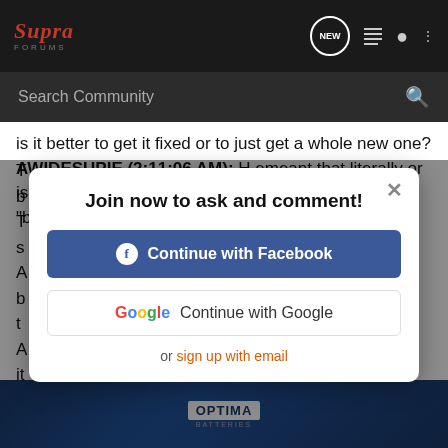SupraForums - Search Community navigation bar
is it better to get it fixed or to just get a whole new one? AWIDESUPIE (2:11:06 AM): H emeant that literally or is burned some word like "toast" etc as in the turbo is "blown"/broken?
T... b... T... s... A... b... t... A... it... something Thi Exp... eing slowed ...
[Figure (screenshot): Modal dialog with 'Join now to ask and comment!' title, Continue with Facebook button (blue), Continue with Google button (white with Google G logo), and 'or sign up with email' link in orange]
[Figure (infographic): Optima Batteries advertisement banner at the bottom of page, showing battery products on blue background with OPTIMA BATTERIES logo]